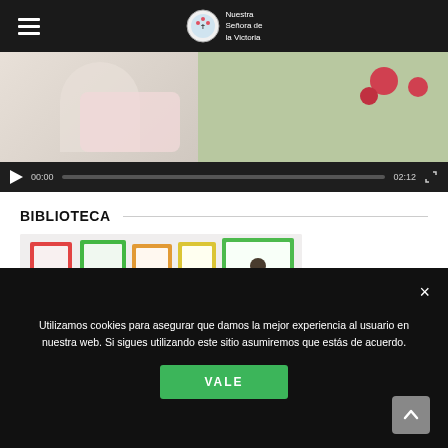Nuestra Señora de la Victoria
[Figure (screenshot): Video player showing a classroom activity. Controls bar with play button, timestamp 00:00 on left, progress bar, timestamp 02:12 on right, and expand icon.]
BIBLIOTECA
[Figure (photo): Photo of a library wall with colorful framed posters and a cartoon illustration of a child reading on a stack of books.]
Utilizamos cookies para asegurar que damos la mejor experiencia al usuario en nuestra web. Si sigues utilizando este sitio asumiremos que estás de acuerdo.